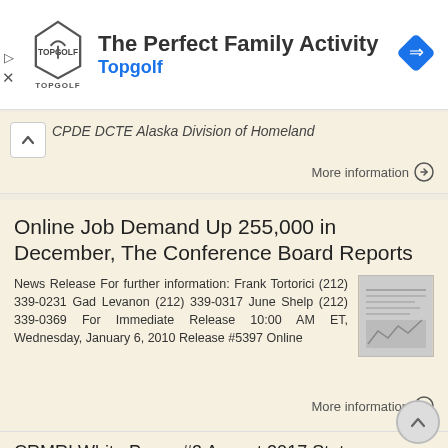[Figure (other): Topgolf advertisement banner with logo and navigation icon. Title: The Perfect Family Activity. Subtitle: Topgolf.]
CPDE DCTE Alaska Division of Homeland
More information →
Online Job Demand Up 255,000 in December, The Conference Board Reports
News Release For further information: Frank Tortorici (212) 339-0231 Gad Levanon (212) 339-0317 June Shelp (212) 339-0369 For Immediate Release 10:00 AM ET, Wednesday, January 6, 2010 Release #5397 Online
More information →
CRMRI White Paper #3 August 2017 State